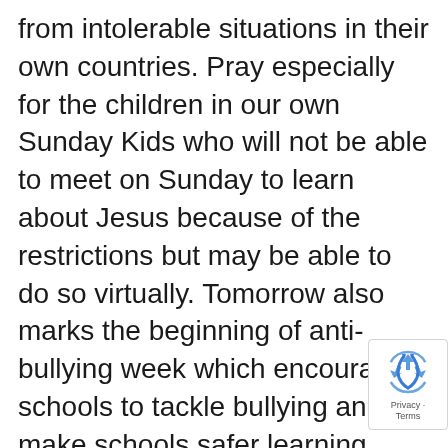from intolerable situations in their own countries. Pray especially for the children in our own Sunday Kids who will not be able to meet on Sunday to learn about Jesus because of the restrictions but may be able to do so virtually. Tomorrow also marks the beginning of anti-bullying week which encourages schools to tackle bullying and make schools safer learning environments.
This evening also our area moves into tier 4 of the Scottish restrictions. Pray that, despite the huge sacrifices these will mean for many, particularly the local businesses which had been hoping for a surge in trade before Christmas, all will accept them with grace for the three weeks they are expected to be in force and that they will be effective in
[Figure (other): reCAPTCHA badge with recycling arrow logo and Privacy - Terms text]